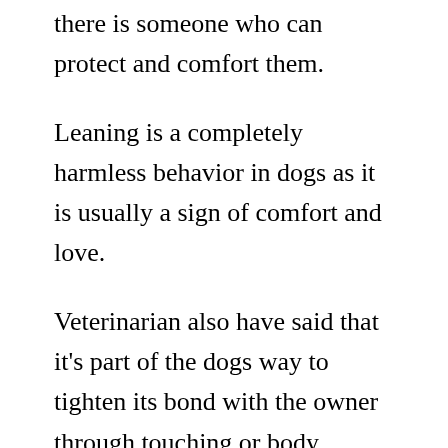there is someone who can protect and comfort them.
Leaning is a completely harmless behavior in dogs as it is usually a sign of comfort and love.
Veterinarian also have said that it’s part of the dogs way to tighten its bond with the owner through touching or body contact.
So once your dogs lean on you, it’s a sign of